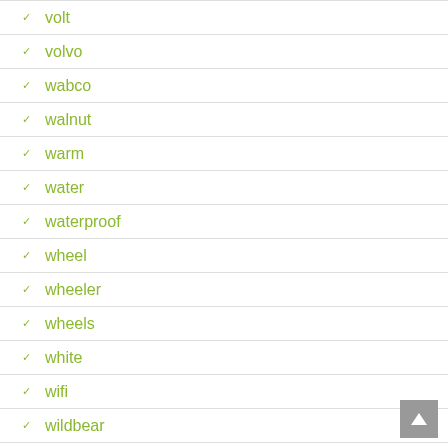volt
volvo
wabco
walnut
warm
water
waterproof
wheel
wheeler
wheels
white
wifi
wildbear
window